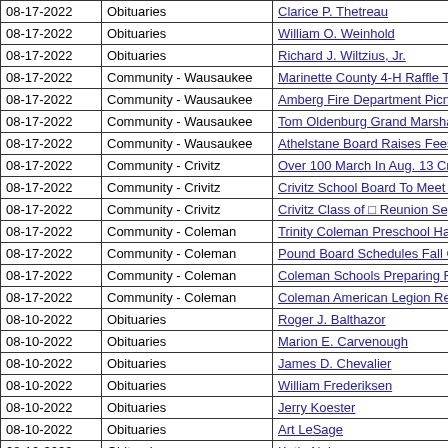| Date | Category | Title |
| --- | --- | --- |
| 08-17-2022 | Obituaries | Clarice P. Thetreau |
| 08-17-2022 | Obituaries | William O. Weinhold |
| 08-17-2022 | Obituaries | Richard J. Wiltzius, Jr. |
| 08-17-2022 | Community - Wausaukee | Marinette County 4-H Raffle To Help the Clubs |
| 08-17-2022 | Community - Wausaukee | Amberg Fire Department Picnics Slated for Sept. |
| 08-17-2022 | Community - Wausaukee | Tom Oldenburg Grand Marshal for Amberg Parad |
| 08-17-2022 | Community - Wausaukee | Athelstane Board Raises Fees For Building Perm |
| 08-17-2022 | Community - Crivitz | Over 100 March In Aug. 13 Crivitz Alumni Band P |
| 08-17-2022 | Community - Crivitz | Crivitz School Board To Meet Aug. 17, Annual Me |
| 08-17-2022 | Community - Crivitz | Crivitz Class of □ Reunion Sept. 24th |
| 08-17-2022 | Community - Coleman | Trinity Coleman Preschool Has Openings for Fall |
| 08-17-2022 | Community - Coleman | Pound Board Schedules Fall Cleanup for Septem |
| 08-17-2022 | Community - Coleman | Coleman Schools Preparing For Sept. 1 Start Of |
| 08-17-2022 | Community - Coleman | Coleman American Legion Reports Theft |
| 08-10-2022 | Obituaries | Roger J. Balthazor |
| 08-10-2022 | Obituaries | Marion  E. Carvenough |
| 08-10-2022 | Obituaries | James D. Chevalier |
| 08-10-2022 | Obituaries | William Frederiksen |
| 08-10-2022 | Obituaries | Jerry Koester |
| 08-10-2022 | Obituaries | Art LeSage |
| 08-10-2022 | Obituaries | Katie N. Luna |